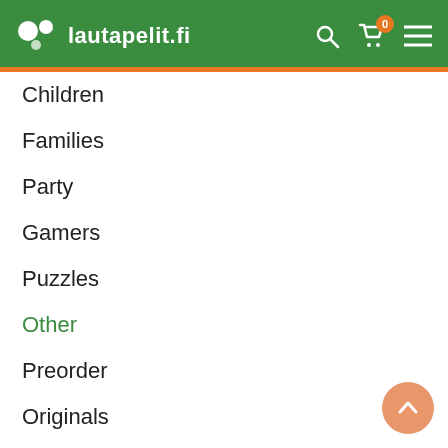lautapelit.fi
Children
Families
Party
Gamers
Puzzles
Other
Preorder
Originals
CUSTOMER SERVICE
Order instructions
Missing components